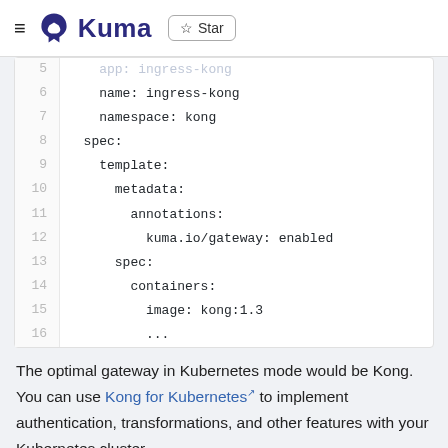≡  Kuma  ☆ Star
[Figure (screenshot): Code block showing YAML configuration lines 5-16: app: ingress-kong (faded), name: ingress-kong, namespace: kong, spec:, template:, metadata:, annotations:, kuma.io/gateway: enabled, spec:, containers:, image: kong:1.3, ...]
The optimal gateway in Kubernetes mode would be Kong. You can use Kong for Kubernetes to implement authentication, transformations, and other features with your Kubernetes cluster.